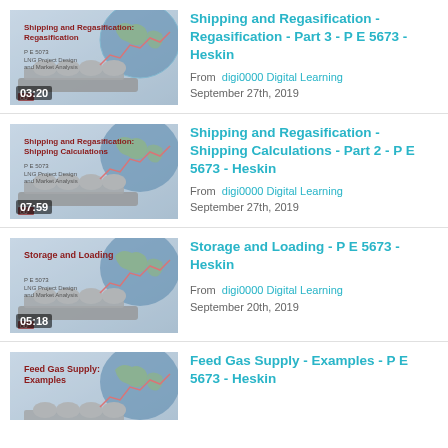[Figure (screenshot): Video thumbnail for Shipping and Regasification - Regasification Part 3, showing LNG ship and globe graphic with text overlay, duration 03:20]
Shipping and Regasification - Regasification - Part 3 - P E 5673 - Heskin
From digi0000 Digital Learning
September 27th, 2019
[Figure (screenshot): Video thumbnail for Shipping and Regasification - Shipping Calculations Part 2, showing LNG ship and globe graphic with text overlay, duration 07:59]
Shipping and Regasification - Shipping Calculations - Part 2 - P E 5673 - Heskin
From digi0000 Digital Learning
September 27th, 2019
[Figure (screenshot): Video thumbnail for Storage and Loading, showing LNG ship and globe graphic with text overlay, duration 05:18]
Storage and Loading - P E 5673 - Heskin
From digi0000 Digital Learning
September 20th, 2019
[Figure (screenshot): Video thumbnail for Feed Gas Supply - Examples, showing LNG ship and globe graphic, partially visible]
Feed Gas Supply - Examples - P E 5673 - Heskin